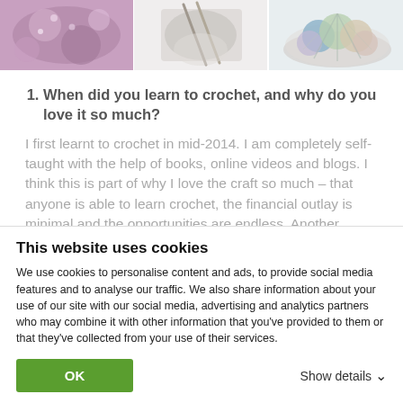[Figure (photo): Three photos in a horizontal strip: left shows purple/pink crochet work, middle shows a grey crocheted item with needles, right shows colorful yarn/craft supplies in a bowl.]
When did you learn to crochet, and why do you love it so much?
I first learnt to crochet in mid-2014. I am completely self-taught with the help of books, online videos and blogs. I think this is part of why I love the craft so much – that anyone is able to learn crochet, the financial outlay is minimal and the opportunities are endless. Another reason why I love crochet is because it provides a relaxing break from thinking…
This website uses cookies
We use cookies to personalise content and ads, to provide social media features and to analyse our traffic. We also share information about your use of our site with our social media, advertising and analytics partners who may combine it with other information that you've provided to them or that they've collected from your use of their services.